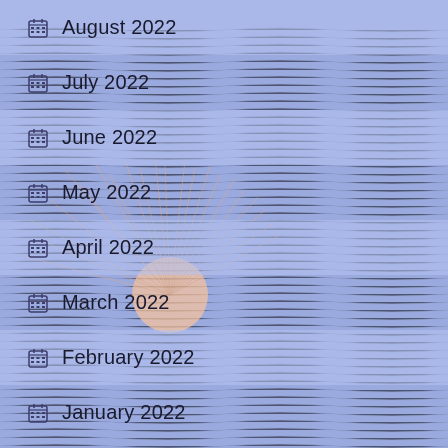August 2022
July 2022
June 2022
May 2022
April 2022
March 2022
February 2022
January 2022
December 2021
November 2021
[Figure (illustration): Decorative background with peach/salmon rising sun illustrations radiating lines over a blue wavy water texture, repeated across the page.]